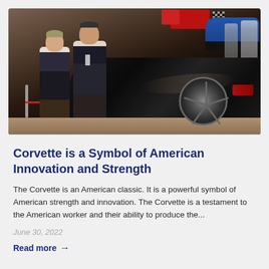[Figure (photo): Two men standing next to a black Corvette sports car inside what appears to be an automotive museum or showroom. A blue car is visible in the background on the right. Red rope barriers are visible on the left side.]
Corvette is a Symbol of American Innovation and Strength
The Corvette is an American classic. It is a powerful symbol of American strength and innovation. The Corvette is a testament to the American worker and their ability to produce the...
June 30, 2022
Read more →